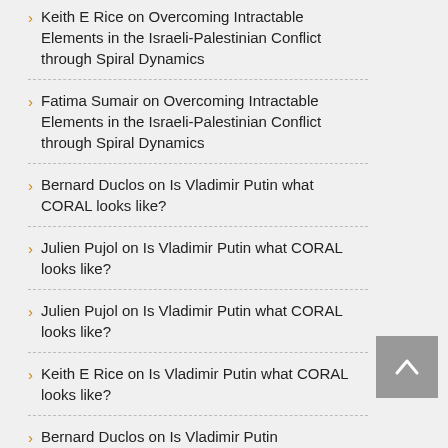Keith E Rice on Overcoming Intractable Elements in the Israeli-Palestinian Conflict through Spiral Dynamics
Fatima Sumair on Overcoming Intractable Elements in the Israeli-Palestinian Conflict through Spiral Dynamics
Bernard Duclos on Is Vladimir Putin what CORAL looks like?
Julien Pujol on Is Vladimir Putin what CORAL looks like?
Julien Pujol on Is Vladimir Putin what CORAL looks like?
Keith E Rice on Is Vladimir Putin what CORAL looks like?
Bernard Duclos on Is Vladimir Putin